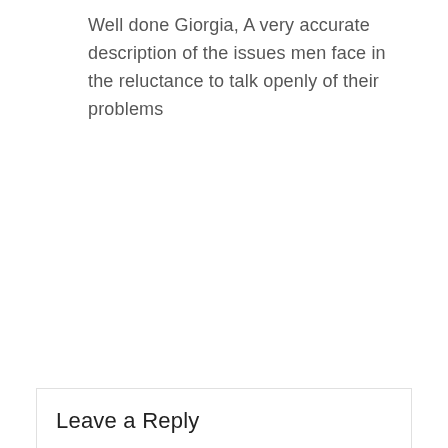Well done Giorgia, A very accurate description of the issues men face in the reluctance to talk openly of their problems
Reply
Leave a Reply
Your email address will not be published. Required fields are marked *
Comment